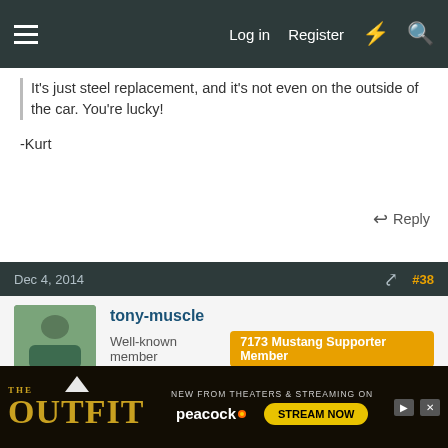Log in  Register
It's just steel replacement, and it's not even on the outside of the car. You're lucky!

-Kurt
Reply
Dec 4, 2014   #38
tony-muscle
Well-known member  7173 Mustang Supporter Member
Thank you for the encouragement guys. Tonight after seeing the Badgers lose to Duke I released my frustration working on the car. I ended up removing most of the fiberglass in the area
[Figure (screenshot): Advertisement banner for 'The Outfit' movie on Peacock streaming service, with a Stream Now button]